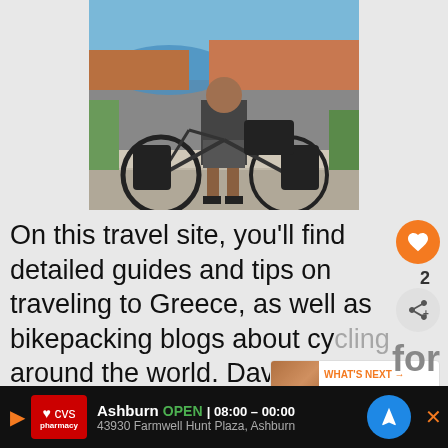[Figure (photo): Person standing with a loaded touring bicycle on an overlook, with a coastal city and blue sea visible in the background (appears to be Dubrovnik, Croatia).]
On this travel site, you'll find detailed guides and tips on traveling to Greece, as well as bikepacking blogs about cy[cling] around the world. Dave's Travel
[Figure (infographic): WHAT'S NEXT -> How to get from Tinos t... widget with a small thumbnail photo]
[Figure (infographic): CVS Pharmacy ad bar: Ashburn OPEN 08:00 - 00:00, 43930 Farmwell Hunt Plaza, Ashburn]